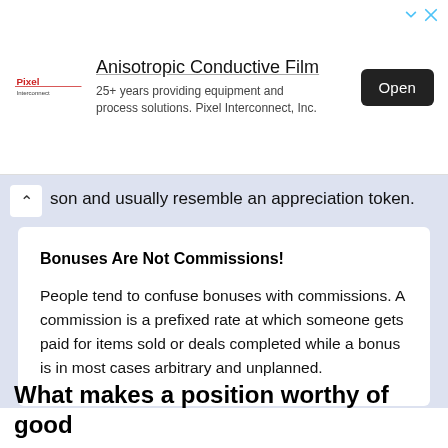[Figure (screenshot): Advertisement banner for Pixel Interconnect featuring logo, title 'Anisotropic Conductive Film', subtitle '25+ years providing equipment and process solutions. Pixel Interconnect, Inc.' and an Open button.]
son and usually resemble an appreciation token.
Bonuses Are Not Commissions!
People tend to confuse bonuses with commissions. A commission is a prefixed rate at which someone gets paid for items sold or deals completed while a bonus is in most cases arbitrary and unplanned.
What makes a position worthy of good